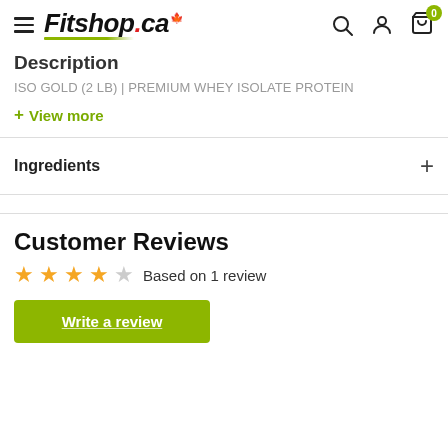Fitshop.ca
Description
ISO GOLD (2 LB) | PREMIUM WHEY ISOLATE PROTEIN
+ View more
Ingredients
Customer Reviews
Based on 1 review
Write a review